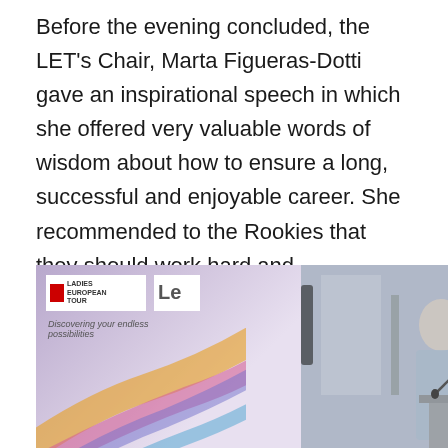Before the evening concluded, the LET's Chair, Marta Figueras-Dotti gave an inspirational speech in which she offered very valuable words of wisdom about how to ensure a long, successful and enjoyable career. She recommended to the Rookies that they should work hard and communicate with those around them, but also be gentle with those they meet. Above all, she encouraged them to listen to their bodies and listen to their hearts.
[Figure (photo): Photo showing a presentation slide with Ladies European Tour branding and a woman speaking at a podium with a microphone. A cookie consent overlay is visible across the bottom portion of the image.]